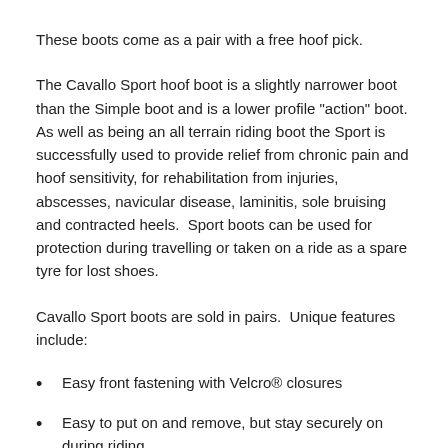These boots come as a pair with a free hoof pick.
The Cavallo Sport hoof boot is a slightly narrower boot than the Simple boot and is a lower profile "action" boot. As well as being an all terrain riding boot the Sport is successfully used to provide relief from chronic pain and hoof sensitivity, for rehabilitation from injuries, abscesses, navicular disease, laminitis, sole bruising and contracted heels.  Sport boots can be used for protection during travelling or taken on a ride as a spare tyre for lost shoes.
Cavallo Sport boots are sold in pairs.  Unique features include:
Easy front fastening with Velcro® closures
Easy to put on and remove, but stay securely on during riding